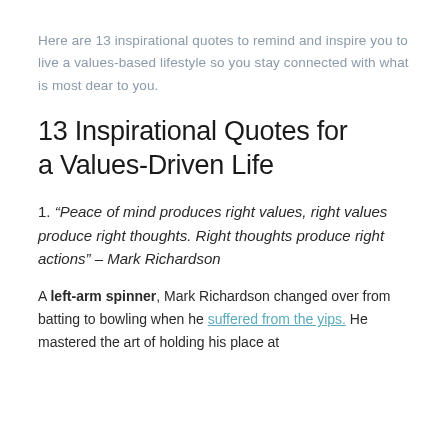Here are 13 inspirational quotes to remind and inspire you to live a values-based lifestyle so you stay connected with what is most dear to you.
13 Inspirational Quotes for a Values-Driven Life
1. “Peace of mind produces right values, right values produce right thoughts. Right thoughts produce right actions” – Mark Richardson
A left-arm spinner, Mark Richardson changed over from batting to bowling when he suffered from the yips. He mastered the art of holding his place at